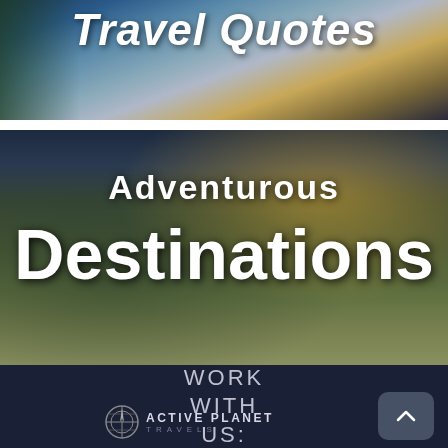[Figure (photo): Top banner image with waterfall/nature scene and partial text 'Travel Quotes' visible at top]
[Figure (photo): Adventurous landscape photo with golden sky sunset and green hills, person silhouette, overlaid with text 'Adventurous Destinations']
WORK WITH US:
[Figure (logo): Active Planet Travels logo with compass icon]